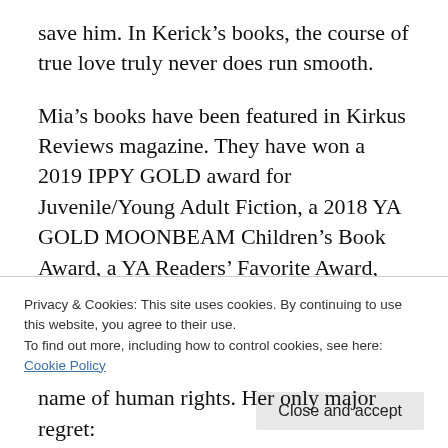save him. In Kerick's books, the course of true love truly never does run smooth.
Mia's books have been featured in Kirkus Reviews magazine. They have won a 2019 IPPY GOLD award for Juvenile/Young Adult Fiction, a 2018 YA GOLD MOONBEAM Children's Book Award, a YA Readers' Favorite Award, several Gold Rainbow Awards in YA and adult categories, a Reader Views' Book by Book Publicity Literary Award, the Jack Eadon Award for Best Book in Contemporary Drama, a YA Indie Fab Award, a First Place Royal
Privacy & Cookies: This site uses cookies. By continuing to use this website, you agree to their use.
To find out more, including how to control cookies, see here:
Cookie Policy
name of human rights. Her only major regret: